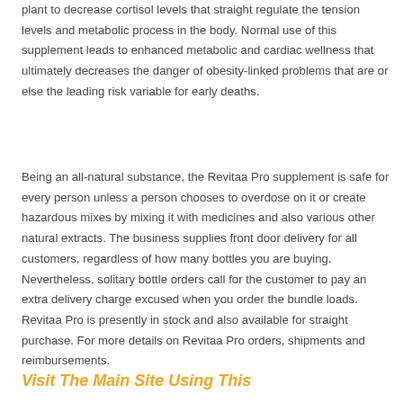plant to decrease cortisol levels that straight regulate the tension levels and metabolic process in the body. Normal use of this supplement leads to enhanced metabolic and cardiac wellness that ultimately decreases the danger of obesity-linked problems that are or else the leading risk variable for early deaths.
Being an all-natural substance, the Revitaa Pro supplement is safe for every person unless a person chooses to overdose on it or create hazardous mixes by mixing it with medicines and also various other natural extracts. The business supplies front door delivery for all customers, regardless of how many bottles you are buying. Nevertheless, solitary bottle orders call for the customer to pay an extra delivery charge excused when you order the bundle loads. Revitaa Pro is presently in stock and also available for straight purchase. For more details on Revitaa Pro orders, shipments and reimbursements.
Visit The Main Site Using This